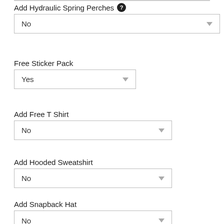Add Hydraulic Spring Perches
No
Free Sticker Pack
Yes
Add Free T Shirt
No
Add Hooded Sweatshirt
No
Add Snapback Hat
No